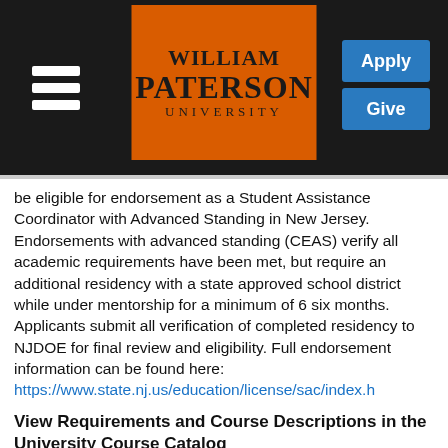[Figure (logo): William Paterson University logo in orange with black text, on a dark navigation bar with hamburger menu, Apply and Give buttons]
be eligible for endorsement as a Student Assistance Coordinator with Advanced Standing in New Jersey. Endorsements with advanced standing (CEAS) verify all academic requirements have been met, but require an additional residency with a state approved school district while under mentorship for a minimum of 6 six months. Applicants submit all verification of completed residency to NJDOE for final review and eligibility. Full endorsement information can be found here: https://www.state.nj.us/education/license/sac/index.h
View Requirements and Course Descriptions in the University Course Catalog
Click here: Student Assistance Coordinator Certificate Program, CERT